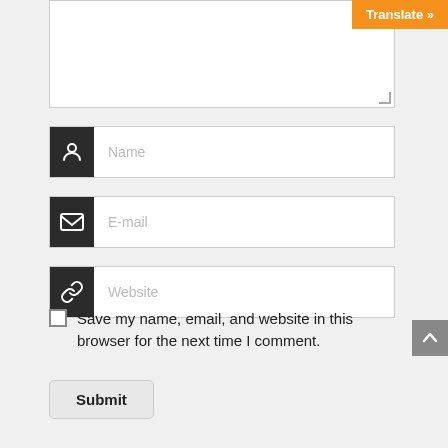[Figure (screenshot): Orange Translate button in top right corner]
[Figure (screenshot): Textarea input box for comment]
[Figure (screenshot): Name input field with person icon]
[Figure (screenshot): E-mail input field with envelope icon]
[Figure (screenshot): Website input field with link icon]
Save my name, email, and website in this browser for the next time I comment.
Submit